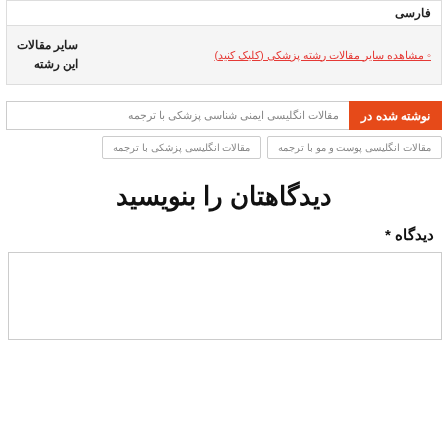فارسی
سایر مقالات این رشته
◦ مشاهده سایر مقالات رشته پزشکی (کلیک کنید)
نوشته شده در
مقالات انگلیسی ایمنی شناسی پزشکی با ترجمه
مقالات انگلیسی پزشکی با ترجمه
مقالات انگلیسی پوست و مو با ترجمه
دیدگاهتان را بنویسید
دیدگاه *